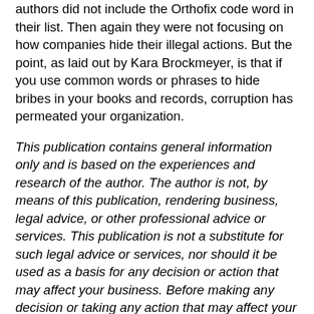authors did not include the Orthofix code word in their list. Then again they were not focusing on how companies hide their illegal actions. But the point, as laid out by Kara Brockmeyer, is that if you use common words or phrases to hide bribes in your books and records, corruption has permeated your organization.
This publication contains general information only and is based on the experiences and research of the author. The author is not, by means of this publication, rendering business, legal advice, or other professional advice or services. This publication is not a substitute for such legal advice or services, nor should it be used as a basis for any decision or action that may affect your business. Before making any decision or taking any action that may affect your business, you should consult a qualified legal advisor. The author, his affiliates, and related entities shall not be